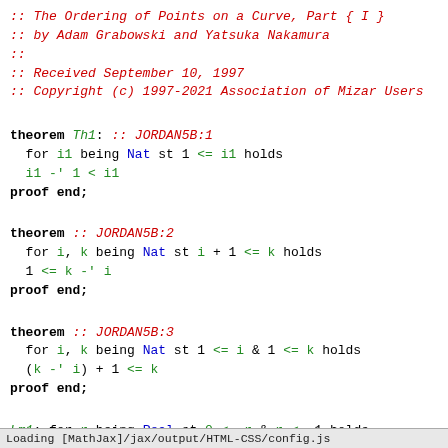:: The Ordering of Points on a Curve, Part { I }
:: by Adam Grabowski and Yatsuka Nakamura
::
:: Received September 10, 1997
:: Copyright (c) 1997-2021 Association of Mizar Users
theorem Th1: :: JORDAN5B:1
  for i1 being Nat st 1 <= i1 holds
  i1 -' 1 < i1
proof end;
theorem :: JORDAN5B:2
  for i, k being Nat st i + 1 <= k holds
  1 <= k -' i
proof end;
theorem :: JORDAN5B:3
  for i, k being Nat st 1 <= i & 1 <= k holds
  (k -' i) + 1 <= k
proof end;
Lm1: for r being Real st 0 <= r & r <= 1 holds
( 0 <= 1 - r & 1 - r <= 1 )
proof end;
theorem :: JORDAN5B:4
  for r being Real st r in the carrier of I[01] holds
  1 - r in the carrier of I[01]
Loading [MathJax]/jax/output/HTML-CSS/config.js